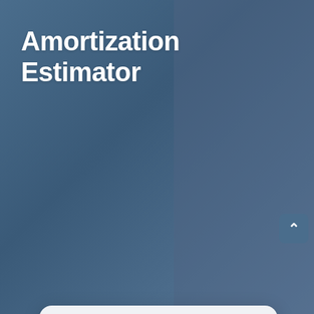Amortization Estimator
[Figure (screenshot): Amortization Estimator web form with LDS logo, fields for Loan amount (175,000 $), Loan term (15 years), Interest rate (4.5 %), First payment date (Sep 2022), and a Calculate button.]